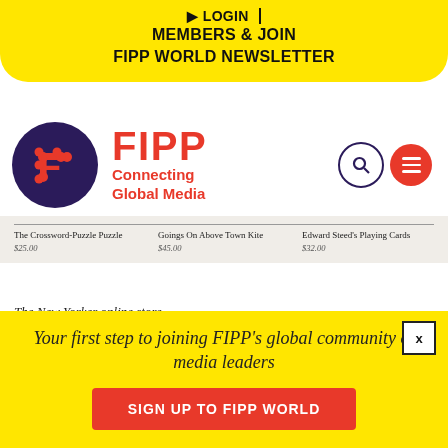LOGIN | MEMBERS & JOIN FIPP WORLD NEWSLETTER
[Figure (logo): FIPP logo — dark purple circle with orange F letter mark, beside FIPP wordmark in red with tagline Connecting Global Media. Search and menu icons on the right.]
[Figure (screenshot): New Yorker online store product tiles: The Crossword-Puzzle Puzzle $25.00, Goings On Above Town Kite $45.00, Edward Steed's Playing Cards $32.00]
The New Yorker online store
Their success lies in the air of selectiveness that surrounds the items on offer. Recently, the magazine
Your first step to joining FIPP's global community of media leaders
SIGN UP TO FIPP WORLD